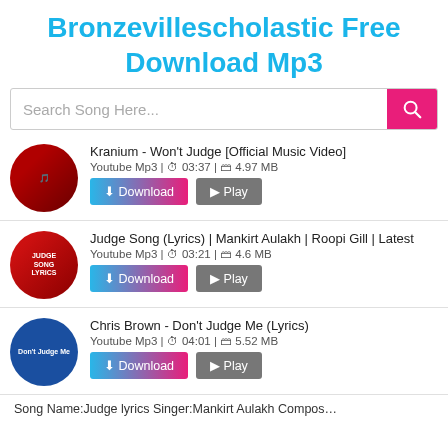Bronzevillescholastic Free Download Mp3
Kranium - Won't Judge [Official Music Video] | Youtube Mp3 | 03:37 | 4.97 MB
Judge Song (Lyrics) | Mankirt Aulakh | Roopi Gill | Latest | Youtube Mp3 | 03:21 | 4.6 MB
Chris Brown - Don't Judge Me (Lyrics) | Youtube Mp3 | 04:01 | 5.52 MB
Song Name:Judge lyrics Singer:Mankirt Aulakh Compos…